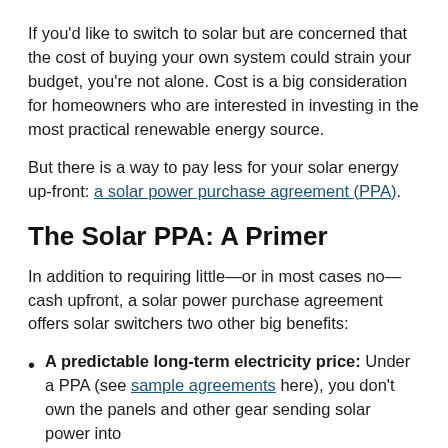If you'd like to switch to solar but are concerned that the cost of buying your own system could strain your budget, you're not alone. Cost is a big consideration for homeowners who are interested in investing in the most practical renewable energy source.
But there is a way to pay less for your solar energy up-front: a solar power purchase agreement (PPA).
The Solar PPA: A Primer
In addition to requiring little—or in most cases no—cash upfront, a solar power purchase agreement offers solar switchers two other big benefits:
A predictable long-term electricity price: Under a PPA (see sample agreements here), you don't own the panels and other gear sending solar power into